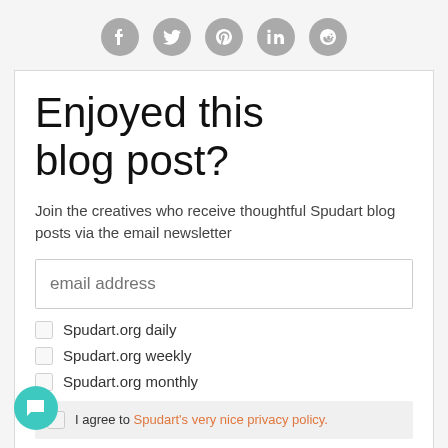[Figure (infographic): Row of five social media icons (Facebook, Twitter, Pinterest, LinkedIn, Reddit) as grey circles]
Enjoyed this blog post?
Join the creatives who receive thoughtful Spudart blog posts via the email newsletter
Spudart.org daily
Spudart.org weekly
Spudart.org monthly
I agree to Spudart's very nice privacy policy.